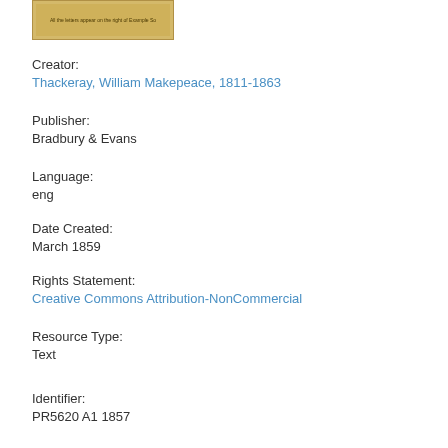[Figure (photo): Small thumbnail image of a book cover or document page with yellowish/golden background]
Creator:
Thackeray, William Makepeace, 1811-1863
Publisher:
Bradbury & Evans
Language:
eng
Date Created:
March 1859
Rights Statement:
Creative Commons Attribution-NonCommercial
Resource Type:
Text
Identifier:
PR5620 A1 1857